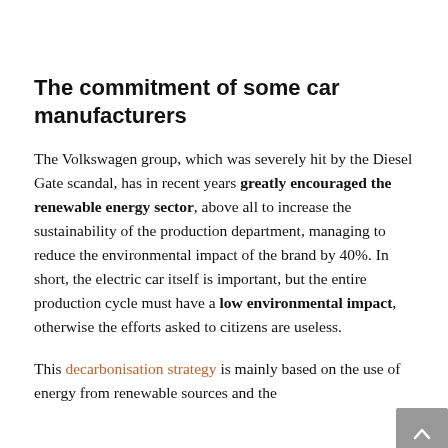The commitment of some car manufacturers
The Volkswagen group, which was severely hit by the Diesel Gate scandal, has in recent years greatly encouraged the renewable energy sector, above all to increase the sustainability of the production department, managing to reduce the environmental impact of the brand by 40%. In short, the electric car itself is important, but the entire production cycle must have a low environmental impact, otherwise the efforts asked to citizens are useless.
This decarbonisation strategy is mainly based on the use of energy from renewable sources and the